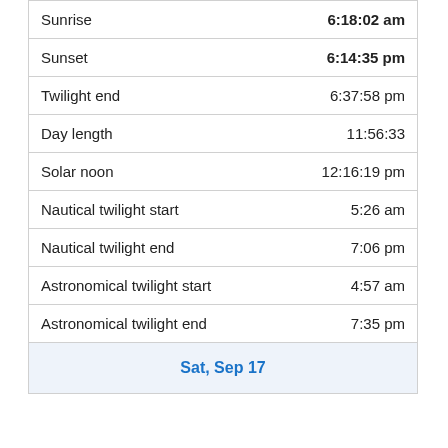|  |  |
| --- | --- |
| Sunrise | 6:18:02 am |
| Sunset | 6:14:35 pm |
| Twilight end | 6:37:58 pm |
| Day length | 11:56:33 |
| Solar noon | 12:16:19 pm |
| Nautical twilight start | 5:26 am |
| Nautical twilight end | 7:06 pm |
| Astronomical twilight start | 4:57 am |
| Astronomical twilight end | 7:35 pm |
| Sat, Sep 17 |  |